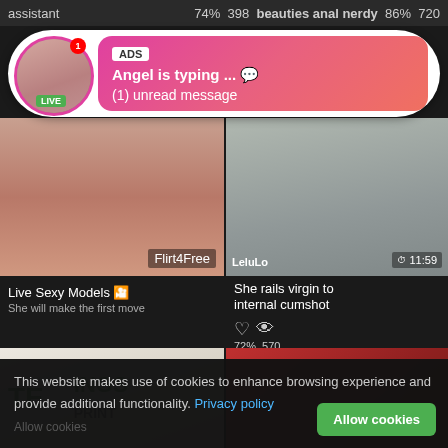assistant  74%  398  beauties anal nerdy  86%  720
[Figure (screenshot): Ad overlay with avatar, LIVE badge, ADS tag, 'Angel is typing ... 💬' and '(1) unread message']
[Figure (photo): Left video thumbnail - Flirt4Free]
[Figure (photo): Right video thumbnail - LeluLo, duration 11:59]
Live Sexy Models 🎦
She will make the first move
She rails virgin to internal cumshot  72%  570
[Figure (photo): Bottom left thumbnail - TE...INGS T...PRINT text visible]
[Figure (photo): Bottom right thumbnail - red dress, two men in uniform]
This website makes use of cookies to enhance browsing experience and provide additional functionality. Privacy policy
Allow cookies